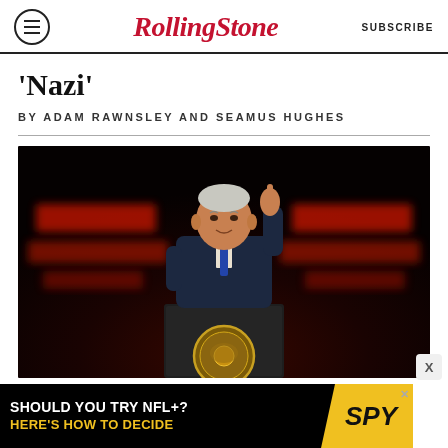Rolling Stone | SUBSCRIBE
'Nazi'
BY ADAM RAWNSLEY AND SEAMUS HUGHES
[Figure (photo): President Biden speaking at a podium with the Presidential seal, gesturing with one finger raised. Dark background with red lighting on either side.]
[Figure (infographic): Advertisement banner: SHOULD YOU TRY NFL+? HERE'S HOW TO DECIDE with SPY logo on yellow background]